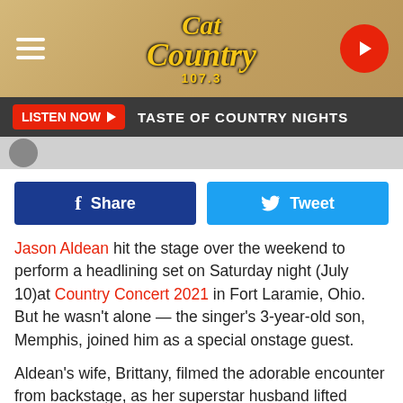[Figure (screenshot): Cat Country 107.3 radio station header with logo, hamburger menu, and play button on wood-grain background]
LISTEN NOW ▶  TASTE OF COUNTRY NIGHTS
Share   Tweet
Jason Aldean hit the stage over the weekend to perform a headlining set on Saturday night (July 10)at Country Concert 2021 in Fort Laramie, Ohio. But he wasn't alone — the singer's 3-year-old son, Memphis, joined him as a special onstage guest.
Aldean's wife, Brittany, filmed the adorable encounter from backstage, as her superstar husband lifted Memphis up so he could meet the enthusiastic crowd full of fans. In the front row, one audience member even held up what appeared to be a teddy bear, offering it to Memphis.